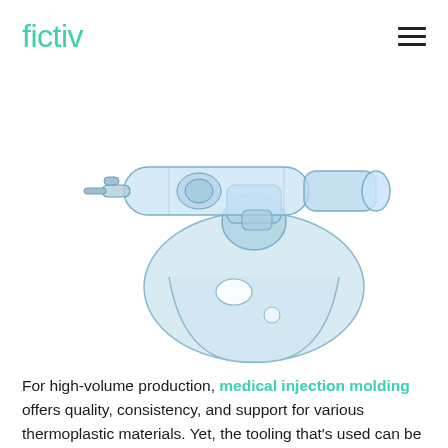fictiv
[Figure (photo): Transparent light-blue medical nebulizer mask assembly with attached cylindrical nebulizer chamber and breathing tube, shown on white background]
For high-volume production, medical injection molding offers quality, consistency, and support for various thermoplastic materials. Yet, the tooling that's used can be expensive, at least when the cost of the